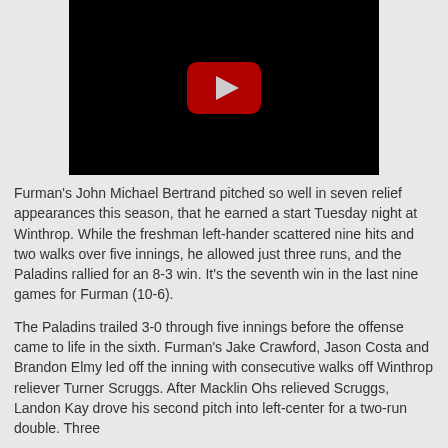[Figure (screenshot): YouTube video thumbnail placeholder — black rectangle with red YouTube play button icon centered]
Furman's John Michael Bertrand pitched so well in seven relief appearances this season, that he earned a start Tuesday night at Winthrop. While the freshman left-hander scattered nine hits and two walks over five innings, he allowed just three runs, and the Paladins rallied for an 8-3 win. It's the seventh win in the last nine games for Furman (10-6).
The Paladins trailed 3-0 through five innings before the offense came to life in the sixth. Furman's Jake Crawford, Jason Costa and Brandon Elmy led off the inning with consecutive walks off Winthrop reliever Turner Scruggs. After Macklin Ohs relieved Scruggs, Landon Kay drove his second pitch into left-center for a two-run double. Three